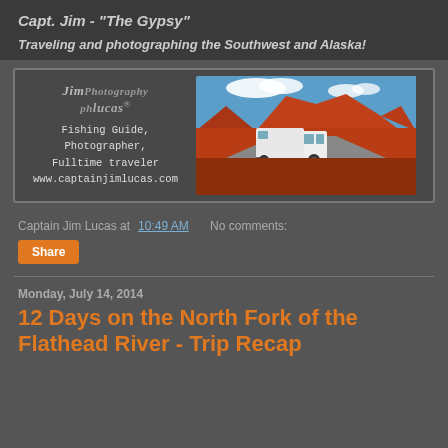Capt. Jim - "The Gypsy"
Traveling and photographing the Southwest and Alaska!
[Figure (infographic): Blog banner with Jim Lucas Photography logo and text 'Fishing Guide, Photographer, Fulltime traveler www.captainjimlucas.com' alongside a photo of a white truck with camper trailer in a red rock desert landscape]
Captain Jim Lucas at 10:49 AM   No comments:
Share
Monday, July 14, 2014
12 Days on the North Fork of the Flathead River - Trip Recap